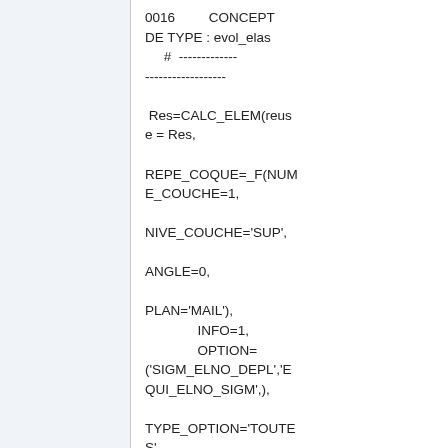0016         CONCEPT DE TYPE : evol_elas
     #  ---------------------------------

 Res=CALC_ELEM(reuse = Res,

REPE_COQUE=_F(NUME_COUCHE=1,

NIVE_COUCHE='SUP',

ANGLE=0,

PLAN='MAIL'),
              INFO=1,
              OPTION=
('SIGM_ELNO_DEPL','EQUI_ELNO_SIGM',),

TYPE_OPTION='TOUTES',